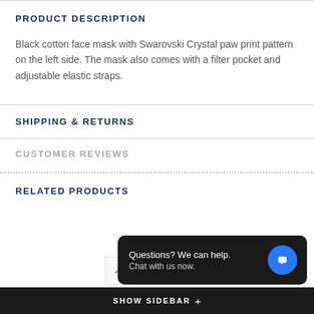PRODUCT DESCRIPTION
Black cotton face mask with Swarovski Crystal paw print pattern on the left side. The mask also comes with a filter pocket and adjustable elastic straps.
SHIPPING & RETURNS
CUSTOMER REVIEWS
RELATED PRODUCTS
SHOW SIDEBAR +